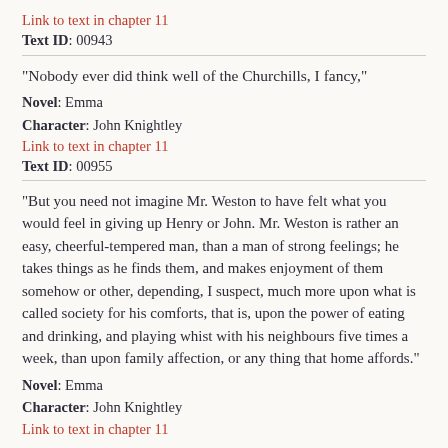Link to text in chapter 11
Text ID: 00943
"Nobody ever did think well of the Churchills, I fancy,"
Novel: Emma
Character: John Knightley
Link to text in chapter 11
Text ID: 00955
"But you need not imagine Mr. Weston to have felt what you would feel in giving up Henry or John. Mr. Weston is rather an easy, cheerful-tempered man, than a man of strong feelings; he takes things as he finds them, and makes enjoyment of them somehow or other, depending, I suspect, much more upon what is called society for his comforts, that is, upon the power of eating and drinking, and playing whist with his neighbours five times a week, than upon family affection, or any thing that home affords."
Novel: Emma
Character: John Knightley
Link to text in chapter 11